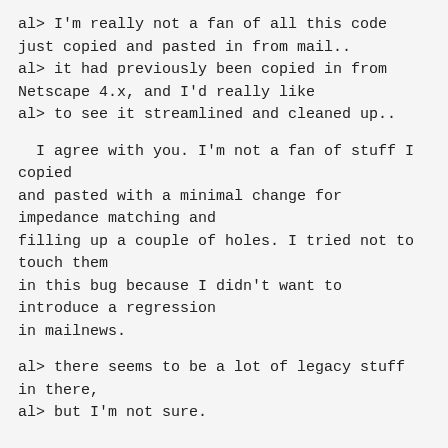al> I'm really not a fan of all this code just copied and pasted in from mail..
al> it had previously been copied in from Netscape 4.x, and I'd really like
al> to see it streamlined and cleaned up..
I agree with you. I'm not a fan of stuff I copied
and pasted with a minimal change for impedance matching and
filling up a couple of holes. I tried not to touch them
in this bug because I didn't want to introduce a regression
in mailnews.
al> there seems to be a lot of legacy stuff in there,
al> but I'm not sure.